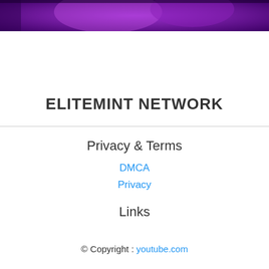[Figure (photo): Purple/violet blurred background image at the top of the page]
For a Feeling (Layton Giordani Remix)
ELITEMINT NETWORK
Privacy & Terms
DMCA
Privacy
Links
© Copyright : youtube.com